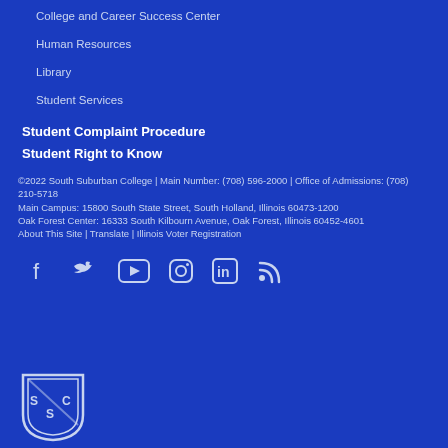College and Career Success Center
Human Resources
Library
Student Services
Student Complaint Procedure
Student Right to Know
©2022 South Suburban College | Main Number: (708) 596-2000 | Office of Admissions: (708) 210-5718
Main Campus: 15800 South State Street, South Holland, Illinois 60473-1200
Oak Forest Center: 16333 South Kilbourn Avenue, Oak Forest, Illinois 60452-4601
About This Site | Translate | Illinois Voter Registration
[Figure (illustration): Social media icons row: Facebook, Twitter, YouTube, Instagram, LinkedIn, RSS feed]
[Figure (logo): South Suburban College shield/logo with S S C letters]